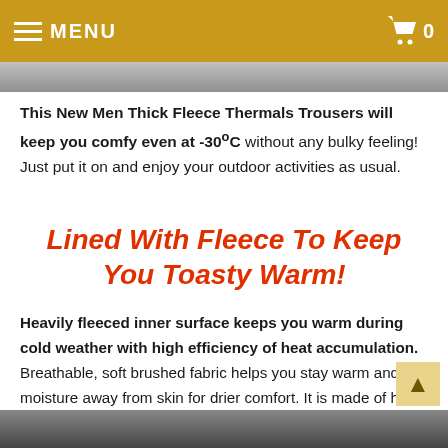MENU  0
[Figure (photo): Partial top image strip showing product photo]
This New Men Thick Fleece Thermals Trousers will keep you comfy even at -30°C without any bulky feeling! Just put it on and enjoy your outdoor activities as usual.
Lined With Fleece To Keep You Toasty Warm!
Heavily fleeced inner surface keeps you warm during cold weather with high efficiency of heat accumulation. Breathable, soft brushed fabric helps you stay warm and lifts moisture away from skin for drier comfort. It is made of high-quality and eco-friendly fabric.
[Figure (photo): Bottom image strip showing product photo]